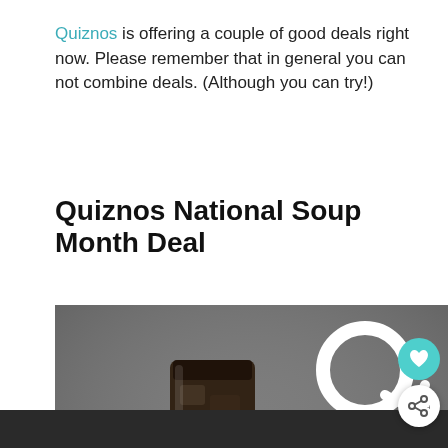Quiznos is offering a couple of good deals right now. Please remember that in general you can not combine deals. (Although you can try!)
Quiznos National Soup Month Deal
[Figure (photo): Promotional photo showing a Coca-Cola drink, a white bowl of soup, and chocolate chip cookies on a wooden surface, with the Quiznos logo in the top right corner.]
[Figure (other): Heart icon button (teal circle) and share icon button (white circle) overlaid on the photo]